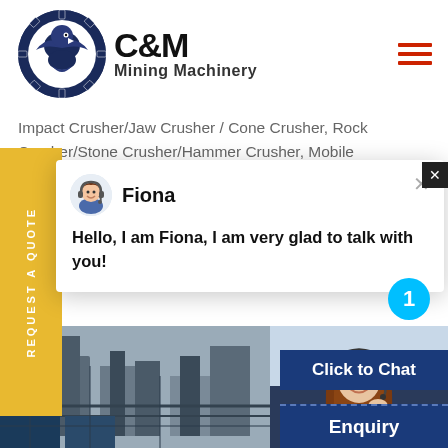[Figure (logo): C&M Mining Machinery logo with eagle/gear emblem in dark blue circle, company name in bold black text]
Impact Crusher/Jaw Crusher / Cone Crusher, Rock Crusher/Stone Crusher/Hammer Crusher, Mobile
REQUEST A QUOTE
[Figure (screenshot): Chat popup with avatar of Fiona (cartoon headset woman), name 'Fiona', message 'Hello, I am Fiona, I am very glad to talk with you!']
Fiona
Hello, I am Fiona, I am very glad to talk with you!
ary Compound Single Cylinder H
sher Price, Hydraulic Concrete C
ges of Cone Stone Crushers Ch
[Figure (photo): Mining machinery equipment photo at bottom left]
[Figure (photo): Customer service woman with headset smiling]
1
Click to Chat
Enquiry